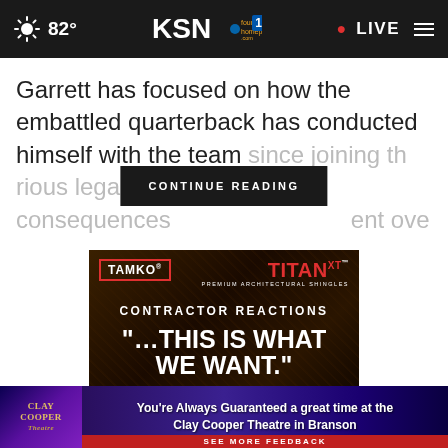82° KSN fourstates homepage.com 12 • LIVE
Garrett has focused on how the embattled quarterback has conducted himself with the team since joining th[e team amid va]rious legal conseqeunces[, and has not] ent[ered into]
CONTINUE READING
[Figure (screenshot): TAMKO TITAN XT Premium Architectural Shingles advertisement — dark background with fire/wood texture. Shows TAMKO logo in red border box, TITAN XT logo in red, CONTRACTOR REACTIONS text, and large white text quote '"...THIS IS WHAT WE WANT."']
[Figure (screenshot): Clay Cooper Theatre banner ad — You're Always Guaranteed a great time at the Clay Cooper Theatre in Branson, with SEE MORE FEEDBACK button]